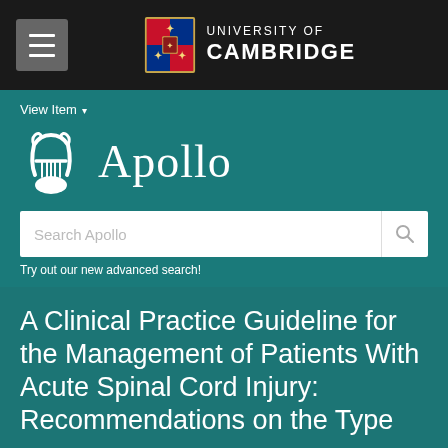[Figure (logo): University of Cambridge logo with coat of arms and text 'UNIVERSITY OF CAMBRIDGE' on black navigation bar with hamburger menu icon]
View Item ▾
[Figure (logo): Apollo repository logo: white lyre icon beside italic serif text 'Apollo' on teal background]
Search Apollo
Try out our new advanced search!
A Clinical Practice Guideline for the Management of Patients With Acute Spinal Cord Injury: Recommendations on the Type